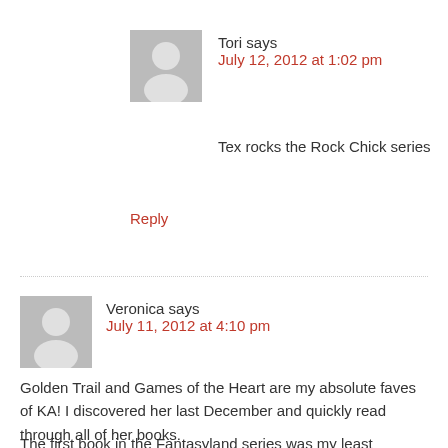[Figure (illustration): Gray avatar silhouette icon for user Tori]
Tori says
July 12, 2012 at 1:02 pm
Tex rocks the Rock Chick series
Reply
[Figure (illustration): Gray avatar silhouette icon for user Veronica]
Veronica says
July 11, 2012 at 4:10 pm
Golden Trail and Games of the Heart are my absolute faves of KA! I discovered her last December and quickly read through all of her books.
The first book in the Fantasyland series was my least